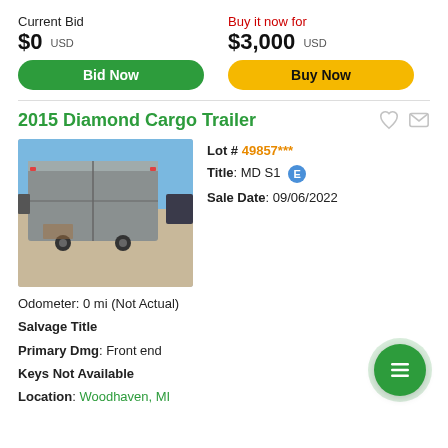Current Bid
$0 USD
Buy it now for
$3,000 USD
Bid Now
Buy Now
2015 Diamond Cargo Trailer
[Figure (photo): Photo of a silver Diamond Cargo enclosed trailer parked in a lot with vehicles in background]
Lot # 49857***
Title: MD SI E
Sale Date: 09/06/2022
Odometer: 0 mi (Not Actual)
Salvage Title
Primary Dmg: Front end
Keys Not Available
Location: Woodhaven, MI